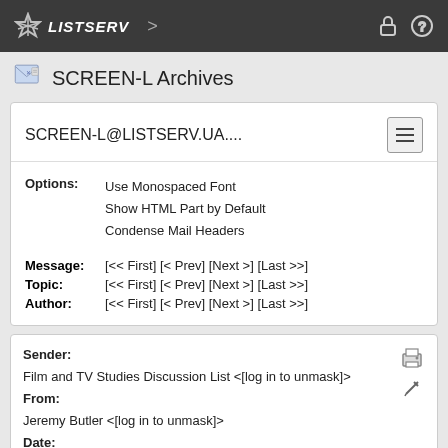LISTSERV
SCREEN-L Archives
SCREEN-L@LISTSERV.UA....
Options: Use Monospaced Font
Show HTML Part by Default
Condense Mail Headers
Message: [<< First] [< Prev] [Next >] [Last >>]
Topic: [<< First] [< Prev] [Next >] [Last >>]
Author: [<< First] [< Prev] [Next >] [Last >>]
Sender:
Film and TV Studies Discussion List <[log in to unmask]>
From:
Jeremy Butler <[log in to unmask]>
Date:
Wed, 29 Jun 1994 15:54:15 CDT